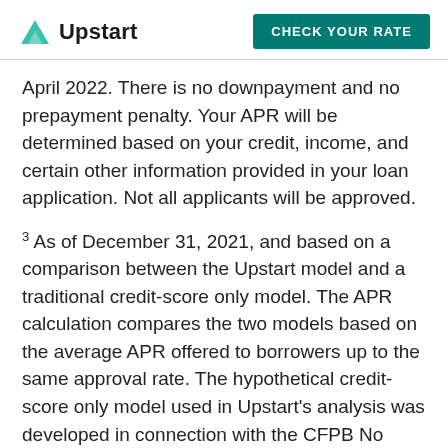Upstart | CHECK YOUR RATE
April 2022. There is no downpayment and no prepayment penalty. Your APR will be determined based on your credit, income, and certain other information provided in your loan application. Not all applicants will be approved.
3 As of December 31, 2021, and based on a comparison between the Upstart model and a traditional credit-score only model. The APR calculation compares the two models based on the average APR offered to borrowers up to the same approval rate. The hypothetical credit-score only model used in Upstart's analysis was developed in connection with the CFPB No Action Letter access-to-credit testing program